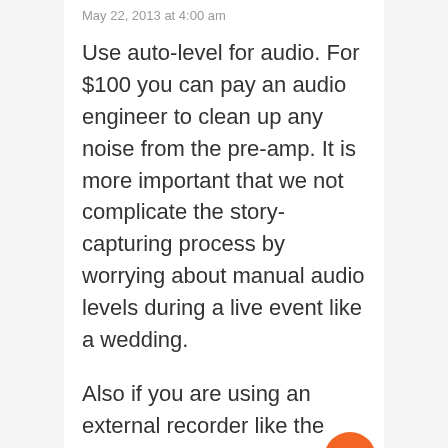May 22, 2013 at 4:00 am
Use auto-level for audio. For $100 you can pay an audio engineer to clean up any noise from the pre-amp. It is more important that we not complicate the story-capturing process by worrying about manual audio levels during a live event like a wedding.
Also if you are using an external recorder like the H4N, then chances